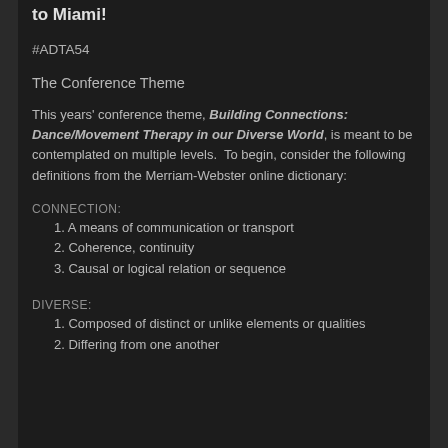to Miami!
#ADTA54
The Conference Theme
This years' conference theme, Building Connections: Dance/Movement Therapy in our Diverse World, is meant to be contemplated on multiple levels.  To begin, consider the following definitions from the Merriam-Webster online dictionary:
CONNECTION:
1. A means of communication or transport
2. Coherence, continuity
3. Causal or logical relation or sequence
DIVERSE:
1. Composed of distinct or unlike elements or qualities
2. Differing from one another